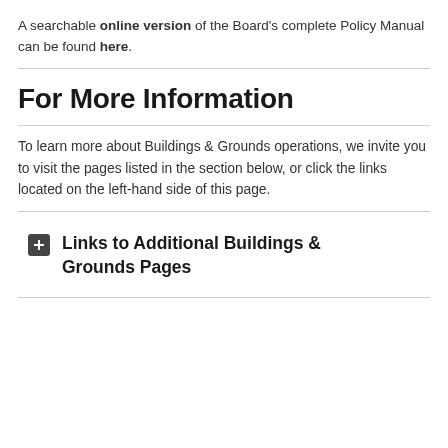A searchable online version of the Board's complete Policy Manual can be found here.
For More Information
To learn more about Buildings & Grounds operations, we invite you to visit the pages listed in the section below, or click the links located on the left-hand side of this page.
Links to Additional Buildings & Grounds Pages